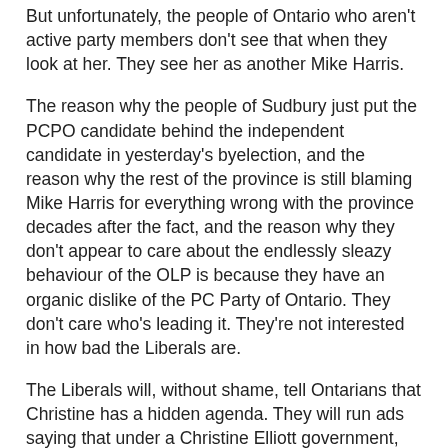But unfortunately, the people of Ontario who aren't active party members don't see that when they look at her. They see her as another Mike Harris.
The reason why the people of Sudbury just put the PCPO candidate behind the independent candidate in yesterday's byelection, and the reason why the rest of the province is still blaming Mike Harris for everything wrong with the province decades after the fact, and the reason why they don't appear to care about the endlessly sleazy behaviour of the OLP is because they have an organic dislike of the PC Party of Ontario. They don't care who's leading it. They're not interested in how bad the Liberals are.
The Liberals will, without shame, tell Ontarians that Christine has a hidden agenda. They will run ads saying that under a Christine Elliott government, nurses will be fired and schools will be closed and inspectors will be fired. They will link her to Hudak because she happened to be deputy leader. They will ask why she hasn't purged the party of right-leaning elements, why she took the endorsement from Doug Ford, why she was seen within 10 kilometres of a gathering of the